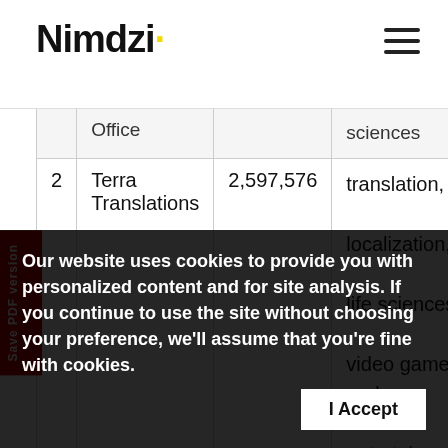Nimdzi
|  | Office |  | sciences |
| --- | --- | --- | --- |
| 2 | Terra Translations | 2,597,576 | translation, localization, life sciences, video games and entertainment |
| 3 | Win & Winnow | 2,030,109 | translation, life sciences, healthcare translation, |
Our website uses cookies to provide you with personalized content and for site analysis. If you continue to use the site without choosing your preference, we'll assume that you're fine with cookies.